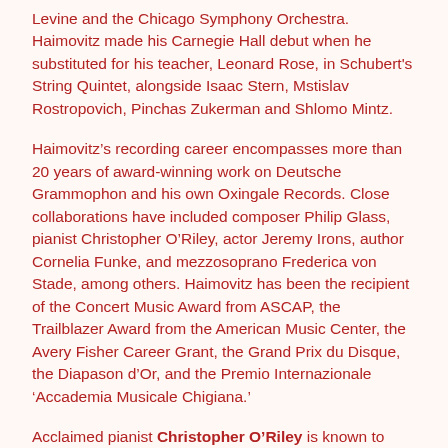Levine and the Chicago Symphony Orchestra. Haimovitz made his Carnegie Hall debut when he substituted for his teacher, Leonard Rose, in Schubert's String Quintet, alongside Isaac Stern, Mstislav Rostropovich, Pinchas Zukerman and Shlomo Mintz.
Haimovitz’s recording career encompasses more than 20 years of award-winning work on Deutsche Grammophon and his own Oxingale Records. Close collaborations have included composer Philip Glass, pianist Christopher O’Riley, actor Jeremy Irons, author Cornelia Funke, and mezzosoprano Frederica von Stade, among others. Haimovitz has been the recipient of the Concert Music Award from ASCAP, the Trailblazer Award from the American Music Center, the Avery Fisher Career Grant, the Grand Prix du Disque, the Diapason d’Or, and the Premio Internazionale ‘Accademia Musicale Chigiana.’
Acclaimed pianist Christopher O’Riley is known to millions as the host of NPR’s (National Public Radio, USA) radio show From the Top. Now in his fifteenth year on air, O’Riley introduces the next generation of classical music stars to